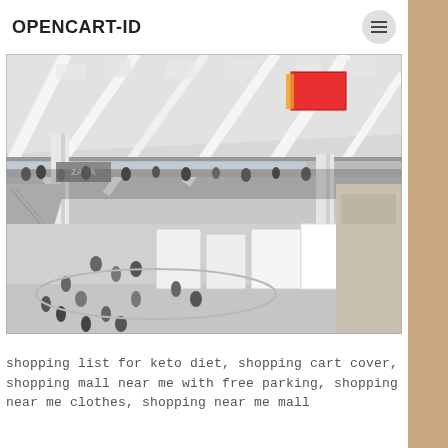OPENCART-ID
[Figure (photo): Interior of a large modern shopping mall with two levels, white structural columns and latticed ceiling, escalators, crowds of shoppers, and colorful advertisement banners. Black and white photo with some color accents.]
shopping list for keto diet, shopping cart cover, shopping mall near me with free parking, shopping near me clothes, shopping near me mall